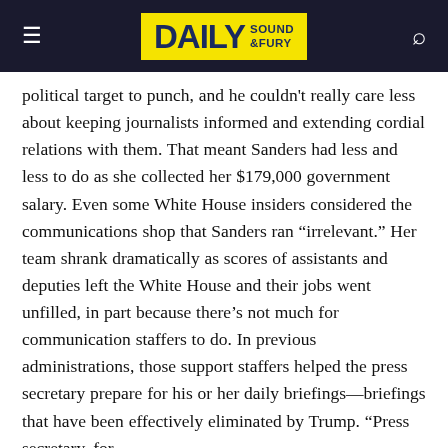DAILY SOUND & FURY
political target to punch, and he couldn't really care less about keeping journalists informed and extending cordial relations with them. That meant Sanders had less and less to do as she collected her $179,000 government salary. Even some White House insiders considered the communications shop that Sanders ran “irrelevant.” Her team shrank dramatically as scores of assistants and deputies left the White House and their jobs went unfilled, in part because there’s not much for communication staffers to do. In previous administrations, those support staffers helped the press secretary prepare for his or her daily briefings—briefings that have been effectively eliminated by Trump. “Press secretary, for